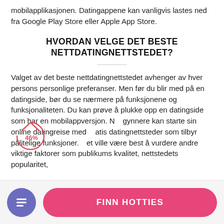mobilapplikasjonen. Datingappene kan vanligvis lastes ned fra Google Play Store eller Apple App Store.
HVORDAN VELGE DET BESTE NETTDATINGNETTSTEDET?
Valget av det beste nettdatingnettstedet avhenger av hver persons personlige preferanser. Men før du blir med på en datingside, bør du se nærmere på funksjonene og funksjonaliteten. Du kan prøve å plukke opp en datingside som har en mobilappversjon. Nybegynnere kan starte sin online datingreise med gratis datingnettsteder som tilbyr pålitelige funksjoner. Det ville være best å vurdere andre viktige faktorer som publikums kvalitet, nettstedets popularitet,
[Figure (other): A partial donut/circle annotation in red/pink showing 46% label, overlaid on the body text area]
[Figure (other): Bottom navigation bar with a purple circular icon showing a document/list symbol, and a pink rounded button labeled FINN HOTTIES]